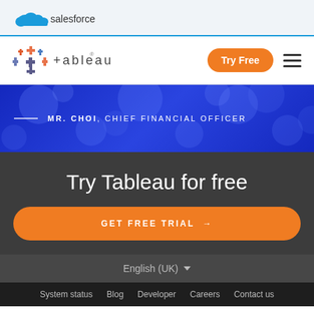salesforce
[Figure (logo): Tableau logo with colorful cross/plus icon and stylized 'tableau' wordmark]
Try Free
[Figure (illustration): Blue bokeh background banner with text: MR. CHOI, CHIEF FINANCIAL OFFICER]
MR. CHOI, CHIEF FINANCIAL OFFICER
Try Tableau for free
GET FREE TRIAL →
English (UK)
System status  Blog  Developer  Careers  Contact us